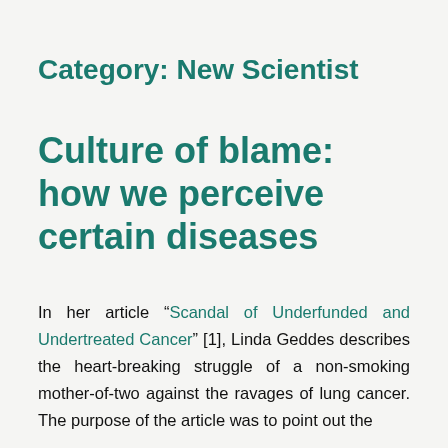Category: New Scientist
Culture of blame: how we perceive certain diseases
In her article “Scandal of Underfunded and Undertreated Cancer” [1], Linda Geddes describes the heart-breaking struggle of a non-smoking mother-of-two against the ravages of lung cancer. The purpose of the article was to point out the